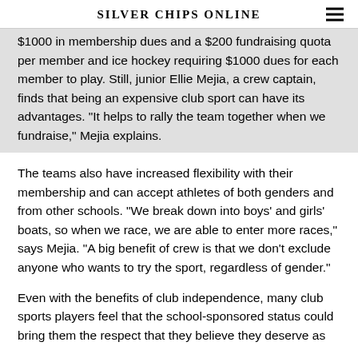Silver Chips Online
$1000 in membership dues and a $200 fundraising quota per member and ice hockey requiring $1000 dues for each member to play. Still, junior Ellie Mejia, a crew captain, finds that being an expensive club sport can have its advantages. "It helps to rally the team together when we fundraise," Mejia explains.
The teams also have increased flexibility with their membership and can accept athletes of both genders and from other schools. "We break down into boys' and girls' boats, so when we race, we are able to enter more races," says Mejia. "A big benefit of crew is that we don't exclude anyone who wants to try the sport, regardless of gender."
Even with the benefits of club independence, many club sports players feel that the school-sponsored status could bring them the respect that they believe they deserve as